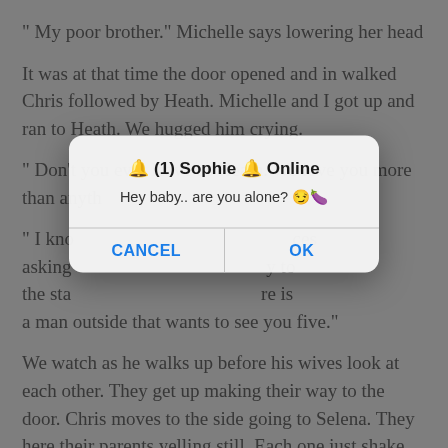" My poor brother." Michelle says lowering her head
It was at that time the door opened and in walked Chris followed by Heath. Michelle and I got up and ran to Heath. We hugged him crying.
" Don't you ever leave us Heath. We love you more than anyth...
" I kno... asking... the sta... there is a man outside that wants to see you five."
[Figure (screenshot): A mobile dialog/alert popup overlaying the text. Title: '🔔 (1) Sophie 🔔 Online'. Message: 'Hey baby.. are you alone? 😏🍆'. Two buttons: CANCEL and OK in blue text.]
We watch as he walks up before his wives look at each other. They get up making their way to the door. Chris moves to the side going to Selena. They here their parents yelling still. Each one just shake their heads as this is the worse mess up this family has seen that I know of. It's at that moment we hear a scream come from the front door.